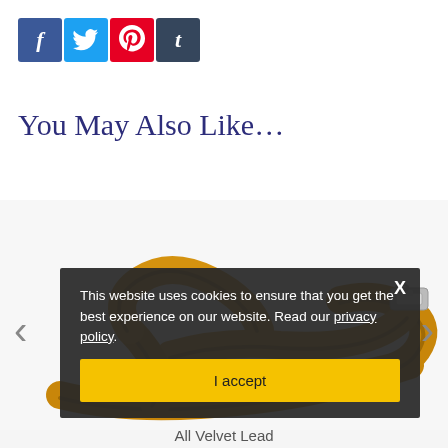[Figure (other): Social media share buttons: Facebook (blue), Twitter (light blue), Pinterest (red), Tumblr (dark blue-grey)]
You May Also Like…
[Figure (photo): A yellow/gold velvet dog lead coiled on a white background with a silver clip visible]
This website uses cookies to ensure that you get the best experience on our website. Read our privacy policy.
I accept
All Velvet Lead